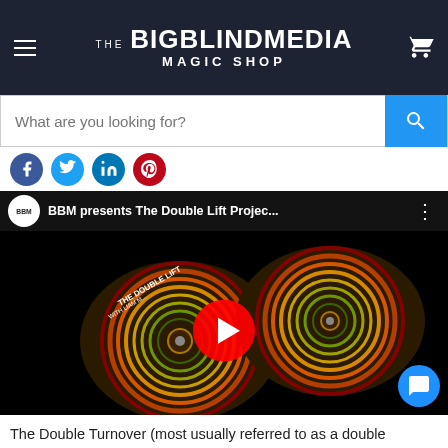THE BIGBLINDMEDIA MAGIC SHOP
[Figure (screenshot): Search bar with placeholder text 'What are you looking for?' and a blue search button]
[Figure (screenshot): Social sharing icons: Facebook, Twitter, LinkedIn, Pinterest]
[Figure (screenshot): YouTube video thumbnail for 'BBM presents The Double Lift Projec...' showing DVD/CD products with a play button overlay]
The Double Turnover (most usually referred to as a double